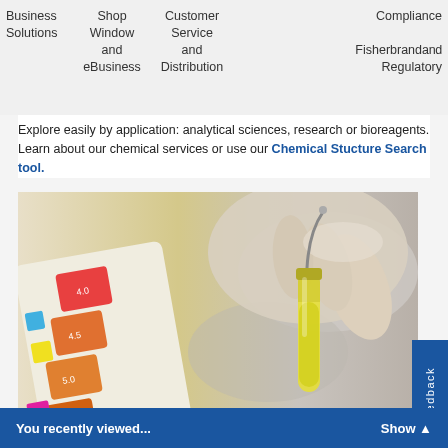Business Solutions | Shop Window and eBusiness | Customer Service and Distribution | Fisherbrand and | Compliance Regulatory
Explore easily by application: analytical sciences, research or bioreagents. Learn about our chemical services or use our Chemical Stucture Search tool.
[Figure (photo): A gloved hand holding a yellow liquid-filled test tube next to pH indicator strips with color-coded ranges.]
Chromatography
Navigate the product groups used during the different stages of a chromatography workflow, including solvents, standards and columns, vials and closures, and chromatography papers. Search within specific brands to find the products you are looking for.
You recently viewed...    Show